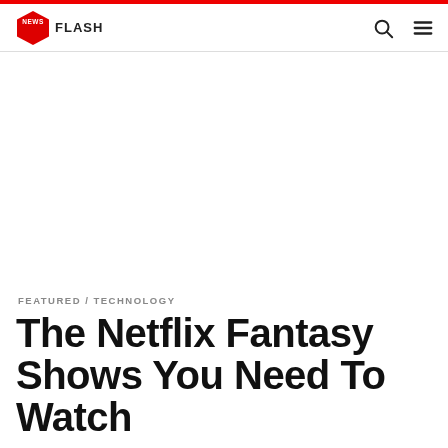NEWS FLASH
FEATURED / TECHNOLOGY
The Netflix Fantasy Shows You Need To Watch